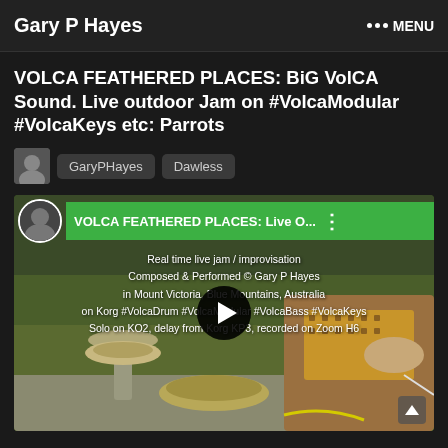Gary P Hayes   ••• MENU
VOLCA FEATHERED PLACES: BiG VolCA Sound. Live outdoor Jam on #VolcaModular #VolcaKeys etc: Parrots
GaryPHayes   Dawless
[Figure (screenshot): Video thumbnail showing outdoor scene with bird bath, garden, and electronic music equipment (Korg Volca). Green title bar reads 'VOLCA FEATHERED PLACES: Live O...' with overlay text: 'Real time live jam / improvisation, Composed & Performed © Gary P Hayes, in Mount Victoria, Blue Mountains, Australia, on Korg #VolcaDrum #VolcaModular #VolcaBass #VolcaKeys, Solo on KO2, delay from Korg KP3, recorded on Zoom H6'. A circular play button is visible in center.]